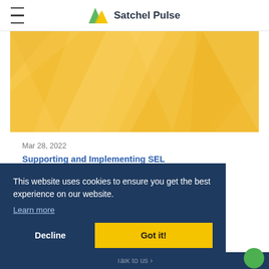Satchel Pulse
[Figure (illustration): Golden yellow geometric polygon hero banner image with abstract triangular shapes in lighter and darker gold tones]
Mar 28, 2022
Supporting and Implementing SEL
Faith Smith
This website uses cookies to ensure you get the best experience on our website.
Learn more
Decline
Got it!
Talk to us